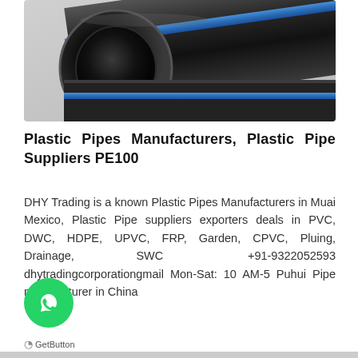[Figure (photo): Black HDPE/PE100 plastic pipes with blue stripe, shown close-up from the end to show hollow cylinder cross-section. Pipes appear dark/matte black, arranged diagonally.]
Plastic Pipes Manufacturers, Plastic Pipe Suppliers PE100
DHY Trading is a known Plastic Pipes Manufacturers in Muai Mexico, Plastic Pipe suppliers exporters deals in PVC, DWC, HDPE, UPVC, FRP, Garden, CPVC, Pluing, Drainage, SWC +91-9322052593 dhytradingcorporationgmail Mon-Sat: 10 AM-5 Puhui Pipe manufacturer in China
[Figure (logo): WhatsApp green circle button with phone/chat icon]
GetButton